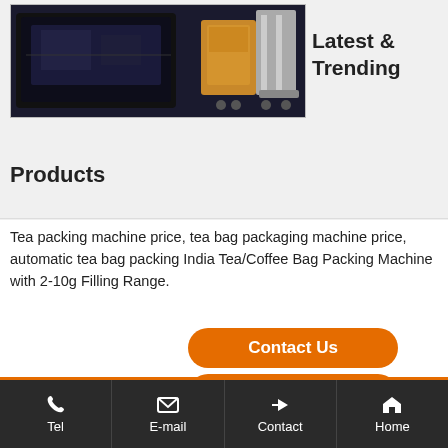[Figure (photo): Photo of a tea packing machine / industrial packaging equipment on dark background, with a secondary machine (orange and silver) on the right]
Latest & Trending Products
Tea packing machine price, tea bag packaging machine price, automatic tea bag packing India Tea/Coffee Bag Packing Machine with 2-10g Filling Range.
Contact Us
Send Inquiry
Pre: Shampoo Packing Machine/Tomato Paste Sachet Packing Machine/Automatic Paste Packing Machine Price
Next: B&E 3 in 1 beer filler/beer bottling machine
Tel  E-mail  Contact  Home